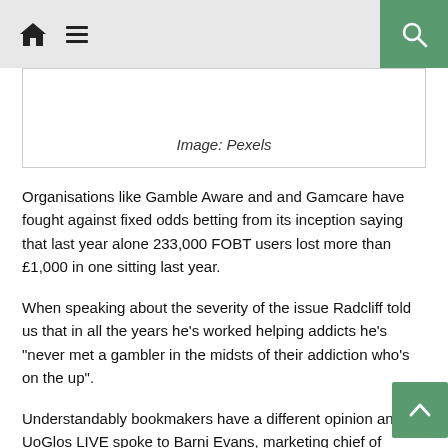Home / Menu / Search
Image: Pexels
Organisations like Gamble Aware and and Gamcare have fought against fixed odds betting from its inception saying that last year alone 233,000 FOBT users lost more than £1,000 in one sitting last year.
When speaking about the severity of the issue Radcliff told us that in all the years he's worked helping addicts he's "never met a gambler in the midsts of their addiction who's on the up".
Understandably bookmakers have a different opinion and UoGlos LIVE spoke to Barni Evans, marketing chief of Sportsbet Australia, who was head of marketing at leading